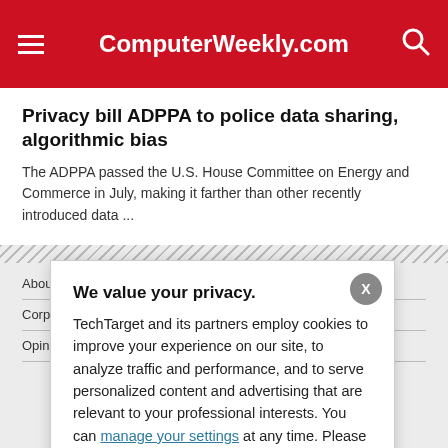ComputerWeekly.com
Privacy bill ADPPA to police data sharing, algorithmic bias
The ADPPA passed the U.S. House Committee on Energy and Commerce in July, making it farther than other recently introduced data ...
About Us   Editorial Ethics   Our Use of Cookies   Adv...
Corporate Site   Contribu...   In Depth   Guides
Opinions   Quizzes   Pho...   Computer Weekly Topics
C...
[Figure (screenshot): Cookie consent modal dialog: 'We value your privacy.' with OK and Settings buttons and a close X button.]